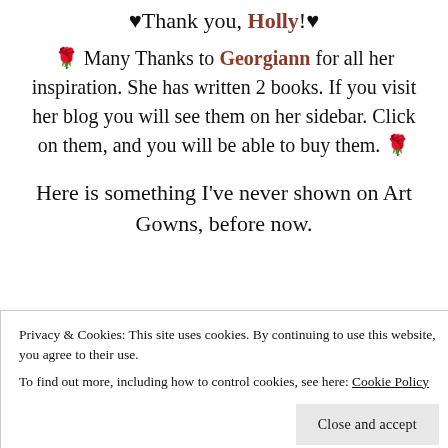♥Thank you, Holly!♥
🌹 Many Thanks to Georgiann for all her inspiration. She has written 2 books. If you visit her blog you will see them on her sidebar. Click on them, and you will be able to buy them. 🌹
Here is something I've never shown on Art Gowns, before now.
From the first
Privacy & Cookies: This site uses cookies. By continuing to use this website, you agree to their use.
To find out more, including how to control cookies, see here: Cookie Policy
Close and accept
[Figure (photo): Partial photo visible at bottom left corner]
journey!